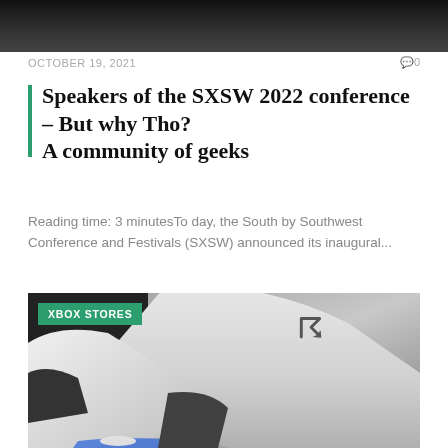[Figure (photo): Dark banner image at the top of the page]
OCTOBER 19, 2021   🗨0
Speakers of the SXSW 2022 conference – But why Tho? A community of geeks
Reading time: 3 minutesToday, the South by Southwest Conference and Festivals (SXSW) announced its inaugural...
[Figure (photo): Close-up photo of a PS5 console and DualSense controller in white, with PlayStation logo visible. An 'XBOX STORES' green badge overlaid in the top-left corner.]